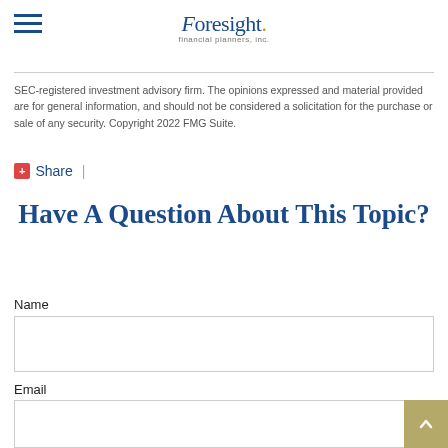Foresight Financial Planners, Inc.
SEC-registered investment advisory firm. The opinions expressed and material provided are for general information, and should not be considered a solicitation for the purchase or sale of any security. Copyright 2022 FMG Suite.
Share |
Have A Question About This Topic?
Name
Email